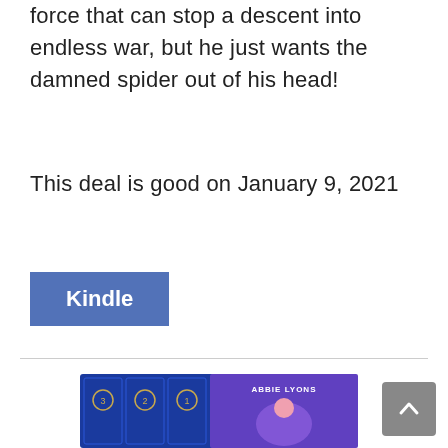force that can stop a descent into endless war, but he just wants the damned spider out of his head!
This deal is good on January 9, 2021
[Figure (other): Blue rectangular button labeled 'Kindle']
[Figure (photo): Book box set with cover art: 'Abbie Lyons' author name, featuring a fairy/angel woman with pink hair and blue wings on a purple background, with three numbered books in a blue box set case.]